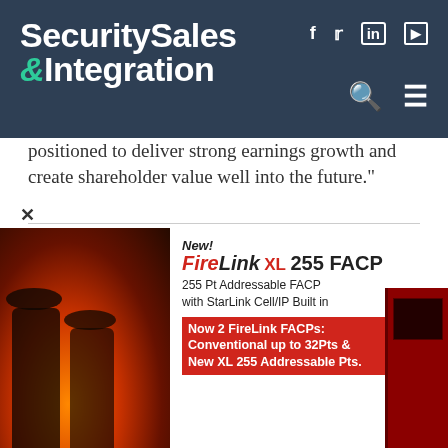Security Sales & Integration
positioned to deliver strong earnings growth and create shareholder value well into the future."
Tagged with: Alarm Response • Honeywell • Interviews • Intrusion Detection • Mergers & Acquisitions • RSI Video Technologies • Video Verification • Videofied • Honeywell • Business • Fire & Intrusion • News • Video Surveillance
Related Content
[Figure (photo): Partial view of a related content article thumbnail image]
[Figure (photo): Advertisement banner for FireLink XL 255 FACP featuring firefighters and product device. Text: New! FireLink XL 255 FACP. 255 Pt Addressable FACP with StarLink Cell/IP Built in. Now 2 FireLink FACPs: Conventional up to 32Pts & New XL 255 Addressable Pts.]